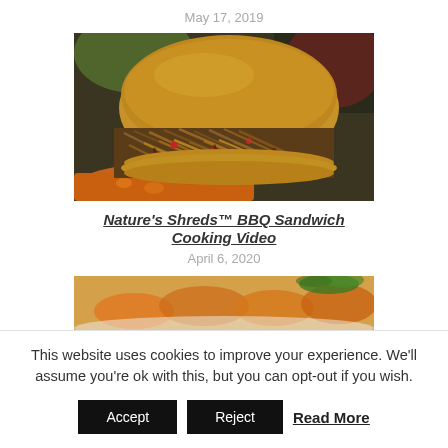May 17, 2019
[Figure (photo): Close-up photo of a BBQ sandwich with shredded mushrooms/plant-based filling on a whole wheat bun, with orange side dish visible]
Nature's Shreds™ BBQ Sandwich Cooking Video
April 6, 2020
[Figure (photo): Partial photo of a food dish with orange and green vegetables/garnishes]
This website uses cookies to improve your experience. We'll assume you're ok with this, but you can opt-out if you wish.